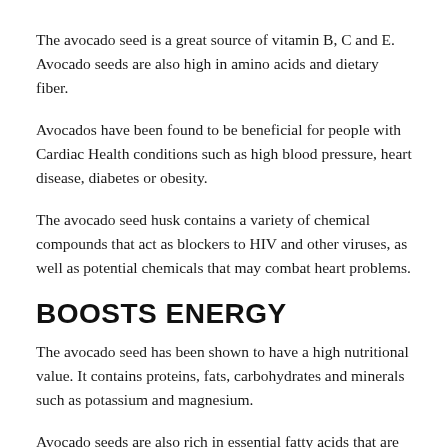The avocado seed is a great source of vitamin B, C and E. Avocado seeds are also high in amino acids and dietary fiber.
Avocados have been found to be beneficial for people with Cardiac Health conditions such as high blood pressure, heart disease, diabetes or obesity.
The avocado seed husk contains a variety of chemical compounds that act as blockers to HIV and other viruses, as well as potential chemicals that may combat heart problems.
BOOSTS ENERGY
The avocado seed has been shown to have a high nutritional value. It contains proteins, fats, carbohydrates and minerals such as potassium and magnesium.
Avocado seeds are also rich in essential fatty acids that are needed for the body to function. They contain linoleic acid which is an essential omega-6 fatty acid that helps the body produce